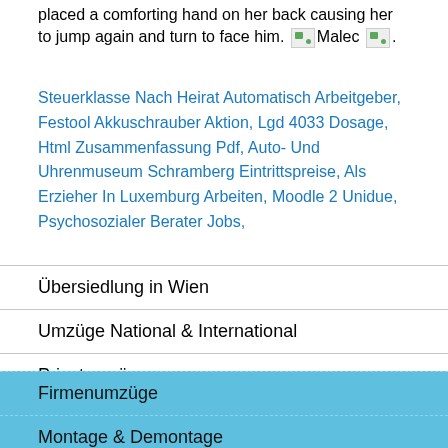placed a comforting hand on her back causing her to jump again and turn to face him. [Malec image] [image].
Steuerklasse Nach Heirat Automatisch Arbeitgeber, Festool Akkuschrauber Aktion, Lgd 4033 Dosage, Html Zusammenfassung Pdf, Auto- Und Uhrenmuseum Schramberg Eintrittspreise, Als Erzieher In Luxemburg Arbeiten, Moodle 2 Unidue, Psychosozialer Berater Jobs,
Übersiedlung in Wien
Umzüge National & International
Privatumzüge
Firmenumzüge
Montage & Demontage
Möbeltransport / Packservice